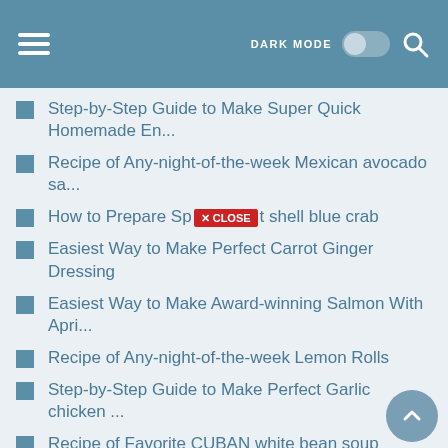DARK MODE [toggle] [search]
Step-by-Step Guide to Make Super Quick Homemade En...
Recipe of Any-night-of-the-week Mexican avocado sa...
How to Prepare Sp... [CLOSE] ...ft shell blue crab
Easiest Way to Make Perfect Carrot Ginger Dressing
Easiest Way to Make Award-winning Salmon With Apri...
Recipe of Any-night-of-the-week Lemon Rolls
Step-by-Step Guide to Make Perfect Garlic chicken ...
Recipe of Favorite CUBAN white bean soup
Recipe of Homemade Mushroom Coconut Cream Soup
Simple Way to Make Quick Garlic Shrimp Alfredo O...
Easiest Way to Prepare Super Quick Homemade Easy h...